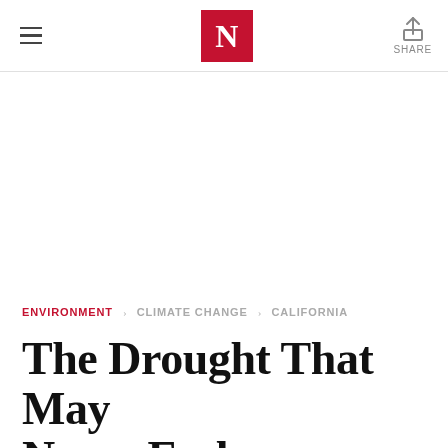N — Newsweek (logo header with hamburger menu and share button)
ENVIRONMENT  CLIMATE CHANGE  CALIFORNIA
The Drought That May Never End